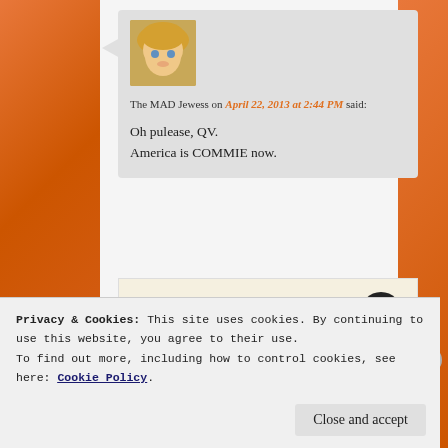The MAD Jewess on April 22, 2013 at 2:44 PM said:
Oh pulease, QV.
America is COMMIE now.
[Figure (infographic): WordPress advertisement banner: 'Professionally designed sites in less than a week' with WordPress logo]
REPORT THIS AD
Privacy & Cookies: This site uses cookies. By continuing to use this website, you agree to their use.
To find out more, including how to control cookies, see here: Cookie Policy